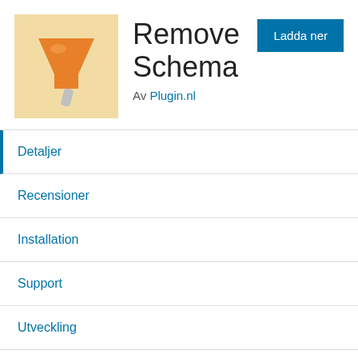[Figure (logo): Plugin icon showing an orange funnel/brush on a light yellow/beige background]
Remove Schema
Av Plugin.nl
Ladda ner
Detaljer
Recensioner
Installation
Support
Utveckling
Beskrivning
Remove Schema optionally removes all schema markup from your website.